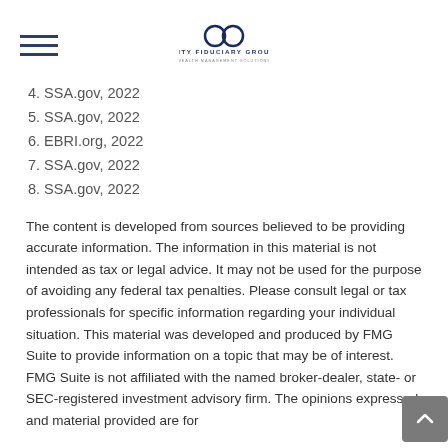City Fiduciary Group
4. SSA.gov, 2022
5. SSA.gov, 2022
6. EBRI.org, 2022
7. SSA.gov, 2022
8. SSA.gov, 2022
The content is developed from sources believed to be providing accurate information. The information in this material is not intended as tax or legal advice. It may not be used for the purpose of avoiding any federal tax penalties. Please consult legal or tax professionals for specific information regarding your individual situation. This material was developed and produced by FMG Suite to provide information on a topic that may be of interest. FMG Suite is not affiliated with the named broker-dealer, state- or SEC-registered investment advisory firm. The opinions expressed and material provided are for